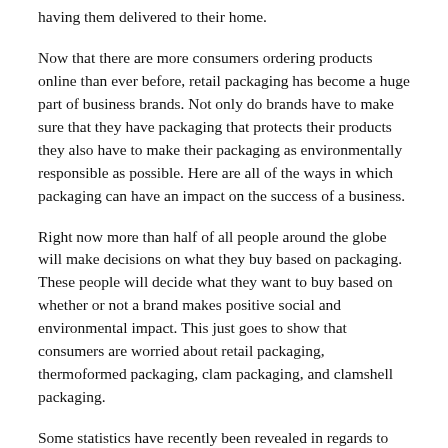having them delivered to their home.
Now that there are more consumers ordering products online than ever before, retail packaging has become a huge part of business brands. Not only do brands have to make sure that they have packaging that protects their products they also have to make their packaging as environmentally responsible as possible. Here are all of the ways in which packaging can have an impact on the success of a business.
Right now more than half of all people around the globe will make decisions on what they buy based on packaging. These people will decide what they want to buy based on whether or not a brand makes positive social and environmental impact. This just goes to show that consumers are worried about retail packaging, thermoformed packaging, clam packaging, and clamshell packaging.
Some statistics have recently been revealed in regards to what is done with plastic packaging after it is used.